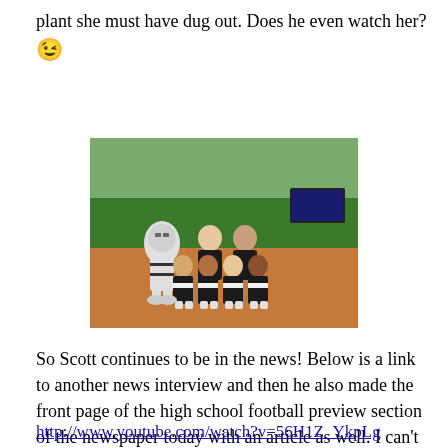plant she must have dug out.  Does he even watch her? 😉
[Figure (photo): Group photo on a football field: a mascot in a knight costume, two adults in black shirts, and four female cheerleaders in black and white uniforms posing together.]
So Scott continues to be in the news!  Below is a link to another news interview and then he also made the front page of the high school football preview section of the newspaper today with an article as well.  I can't believe this Friday is the first game!
http://www.youtube.com/watch?v=56H1Z_YkpLg